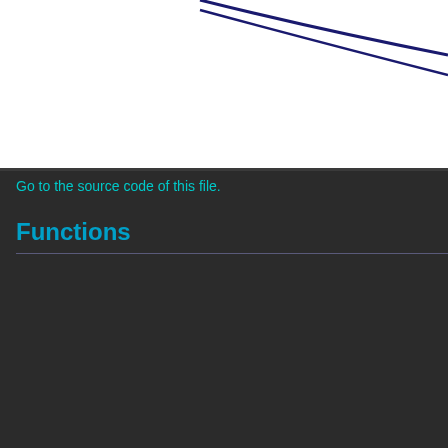[Figure (continuous-plot): Partial diagram with dark blue curved lines on white background, cropped at top]
Go to the source code of this file.
Functions
|  |  |
| --- | --- |
| static void | NotifyUnload (WalletModel *walletModel) |
| static void | NotifyKeyStoreStatusChanged (WalletModel *walletmodel) |
| static void | NotifyAddressBookChanged (WalletModel *walletmodel, const CTxDestination &address, const std::string &label, bool isMine, const std::string &purpose, ChangeType status) |